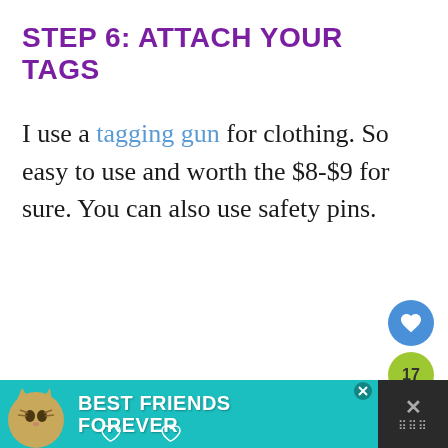STEP 6: ATTACH YOUR TAGS
I use a tagging gun for clothing. So easy to use and worth the $8-$9 for sure. You can also use safety pins.
[Figure (infographic): UI buttons: heart/like button (blue circle), count badge showing 17 (green), share button (green circle with share icon)]
[Figure (infographic): Ad banner at bottom: teal background with cat photo, text 'BEST FRIENDS FOREVER' in white bold font, close/X button on right dark panel]